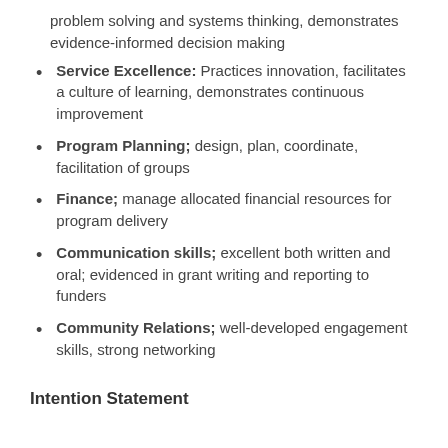problem solving and systems thinking, demonstrates evidence-informed decision making
Service Excellence: Practices innovation, facilitates a culture of learning, demonstrates continuous improvement
Program Planning; design, plan, coordinate, facilitation of groups
Finance; manage allocated financial resources for program delivery
Communication skills; excellent both written and oral; evidenced in grant writing and reporting to funders
Community Relations; well-developed engagement skills, strong networking
Intention Statement